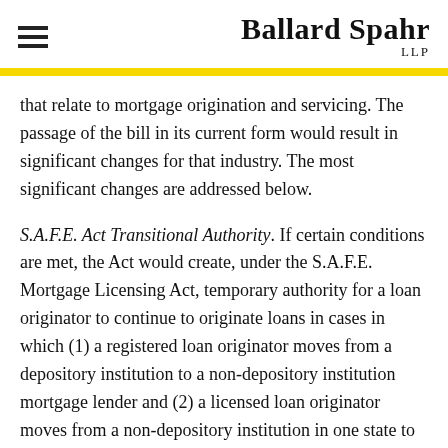Ballard Spahr LLP
that relate to mortgage origination and servicing. The passage of the bill in its current form would result in significant changes for that industry. The most significant changes are addressed below.
S.A.F.E. Act Transitional Authority. If certain conditions are met, the Act would create, under the S.A.F.E. Mortgage Licensing Act, temporary authority for a loan originator to continue to originate loans in cases in which (1) a registered loan originator moves from a depository institution to a non-depository institution mortgage lender and (2) a licensed loan originator moves from a non-depository institution in one state to another non-depository institution in a